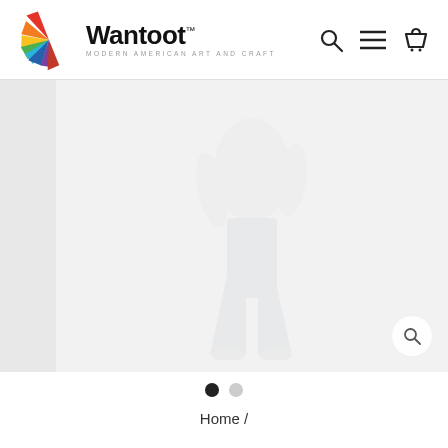Wantoot — MODERN AMERICAN ART AND CRAFT
[Figure (photo): E-commerce product page showing a model wearing a white top and light blue wide-leg/flare pants, with a zoom icon in the bottom-right corner. Left strip is a lighter gray side panel. Image slideshow with two dot indicators below.]
Home /